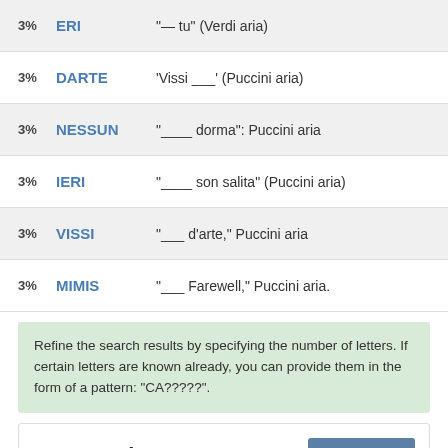| Pct | Answer | Clue |
| --- | --- | --- |
| 3% | ERI | "— tu" (Verdi aria) |
| 3% | DARTE | 'Vissi ___' (Puccini aria) |
| 3% | NESSUN | "____ dorma": Puccini aria |
| 3% | IERI | "____ son salita" (Puccini aria) |
| 3% | VISSI | "___ d'arte," Puccini aria |
| 3% | MIMIS | "___ Farewell," Puccini aria. |
Refine the search results by specifying the number of letters. If certain letters are known already, you can provide them in the form of a pattern: "CA?????".
Recent Clues